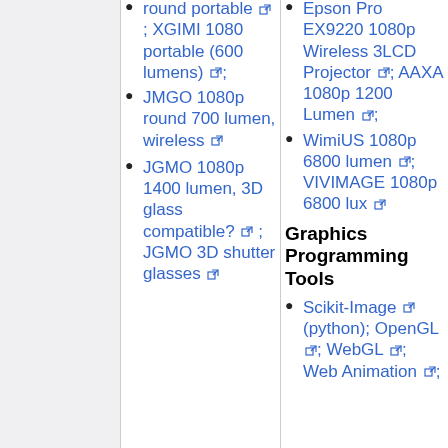round portable; XGIMI 1080 portable (600 lumens);
JMGO 1080p round 700 lumen, wireless
JGMO 1080p 1400 lumen, 3D glass compatible? ; JGMO 3D shutter glasses
Wireless ...; Epson Pro EX9220 1080p Wireless 3LCD Projector; AAXA 1080p 1200 Lumen;
WimiUS 1080p 6800 lumen; VIVIMAGE 1080p 6800 lux
Graphics Programming Tools
Scikit-Image (python); OpenGL; WebGL; Web Animation;